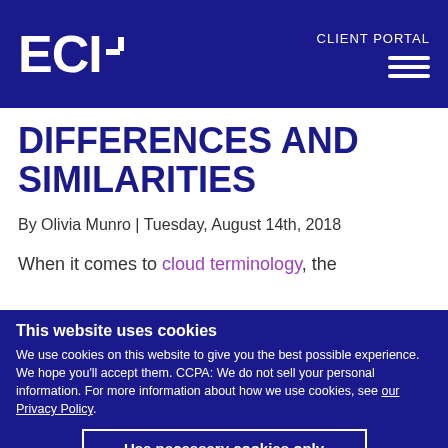ECI+ CLIENT PORTAL
DIFFERENCES AND SIMILARITIES
By Olivia Munro | Tuesday, August 14th, 2018
When it comes to cloud terminology, the
This website uses cookies
We use cookies on this website to give you the best possible experience. We hope you'll accept them. CCPA: We do not sell your personal information. For more information about how we use cookies, see our Privacy Policy.
Use necessary cookies only
Allow all cookies
Show details